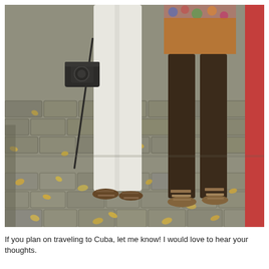[Figure (photo): Photo showing the lower bodies and legs of two people standing on a cobblestone path scattered with fallen yellow leaves. The person on the left wears white pants and holds a black camera with a strap. Both people wear sandals. The person on the right wears a colorful floral top and shorts. A red garment is partially visible on the far right.]
If you plan on traveling to Cuba, let me know! I would love to hear your thoughts.